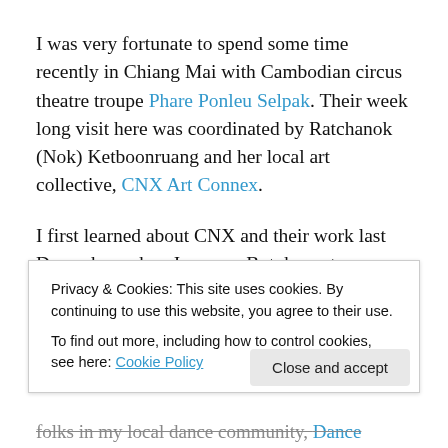I was very fortunate to spend some time recently in Chiang Mai with Cambodian circus theatre troupe Phare Ponleu Selpak. Their week long visit here was coordinated by Ratchanok (Nok) Ketboonruang and her local art collective, CNX Art Connex.
I first learned about CNX and their work last December, when Japanese Butoh master Katsura Kan performed his Time Machine and taught a Butoh and Contemporary Dance workshop in Chiang Mai. I had just returned to Thailand after spending five months abroad in the Perform...
Privacy & Cookies: This site uses cookies. By continuing to use this website, you agree to their use. To find out more, including how to control cookies, see here: Cookie Policy
...folks in my local dance community, Dance Chiang Mai,